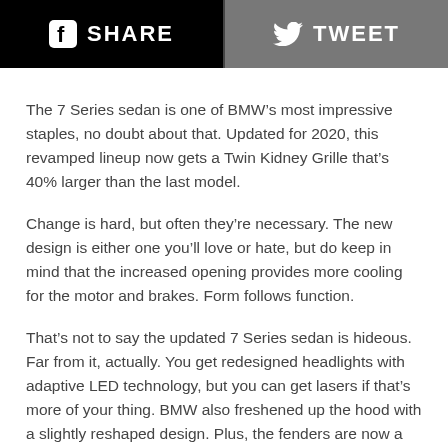SHARE   TWEET
The 7 Series sedan is one of BMW’s most impressive staples, no doubt about that. Updated for 2020, this revamped lineup now gets a Twin Kidney Grille that’s 40% larger than the last model.
Change is hard, but often they’re necessary. The new design is either one you’ll love or hate, but do keep in mind that the increased opening provides more cooling for the motor and brakes. Form follows function.
That’s not to say the updated 7 Series sedan is hideous. Far from it, actually. You get redesigned headlights with adaptive LED technology, but you can get lasers if that’s more of your thing. BMW also freshened up the hood with a slightly reshaped design. Plus, the fenders are now a tad bit more muscular.